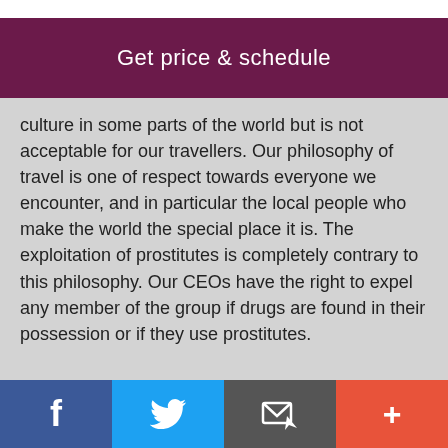Get price & schedule
culture in some parts of the world but is not acceptable for our travellers. Our philosophy of travel is one of respect towards everyone we encounter, and in particular the local people who make the world the special place it is. The exploitation of prostitutes is completely contrary to this philosophy. Our CEOs have the right to expel any member of the group if drugs are found in their possession or if they use prostitutes.
Travel Insurance
[Figure (infographic): Social sharing bar with Facebook, Twitter, email/bookmark, and add (+) buttons]